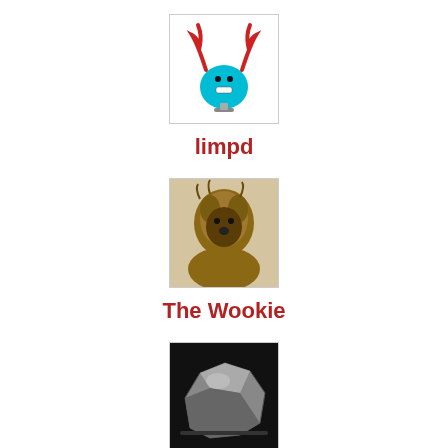[Figure (illustration): Cartoon character with red antlers and teal body on a stand - limpd avatar]
limpd
[Figure (photo): Photo of Chewbacca costume/character - The Wookie avatar]
The Wookie
[Figure (photo): Photo of a rock or mineral specimen - The ROK avatar]
The ROK
[Figure (photo): Photo of figurine sitting on a martini glass - avatar]
Somebody Half Terrible Thi...